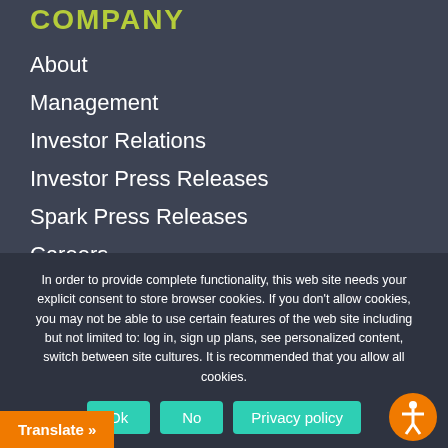COMPANY
About
Management
Investor Relations
Investor Press Releases
Spark Press Releases
Careers
Charities We Support
Awards Gift Card to Staff
In order to provide complete functionality, this web site needs your explicit consent to store browser cookies. If you don't allow cookies, you may not be able to use certain features of the web site including but not limited to: log in, sign up plans, see personalized content, switch between site cultures. It is recommended that you allow all cookies.
Ok | No | Privacy policy